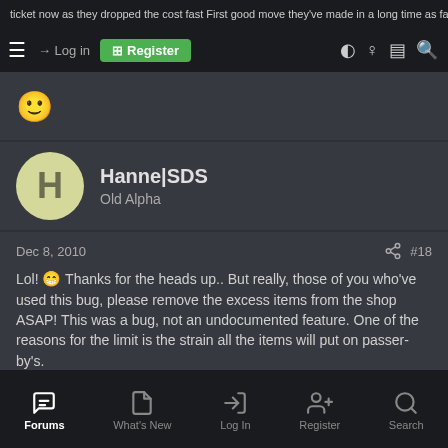ticket now as they dropped the cost fast First good move they've made in a long time as far as
☰  → Log in  ⊞ Register  ◑  ♀  ▤  🔍
🙂
Hanne|SDS
Old Alpha
Dec 8, 2010  #18
Lol! 😁 Thanks for the heads up.. But really, those of you who've used this bug, please remove the excess items from the shop ASAP! This was a bug, not an undocumented feature. One of the reasons for the limit is the strain all the items will put on passer-by's.
Last edited: Dec 8, 2010
Forums  What's New  Log In  Register  Search